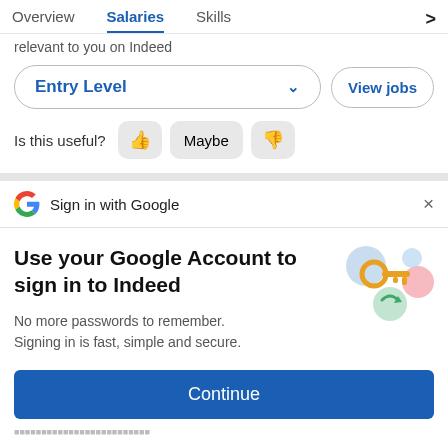Overview  Salaries  Skills
relevant to you on Indeed
Entry Level  ∨  View jobs
Is this useful?  👍  Maybe  👎
Sign in with Google  ×
Use your Google Account to sign in to Indeed
No more passwords to remember. Signing in is fast, simple and secure.
Continue